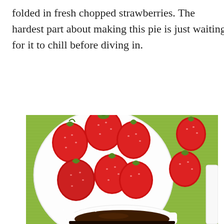folded in fresh chopped strawberries. The hardest part about making this pie is just waiting for it to chill before diving in.
[Figure (photo): Overhead photo of a white bowl filled with fresh red strawberries with green tops, placed on a green textured cloth background. Additional loose strawberries are visible on the cloth. In the lower portion of the image, a partial view of a white plate holds what appears to be a chocolate pie slice. A watermark reads 'Chocolate Moosey'.]